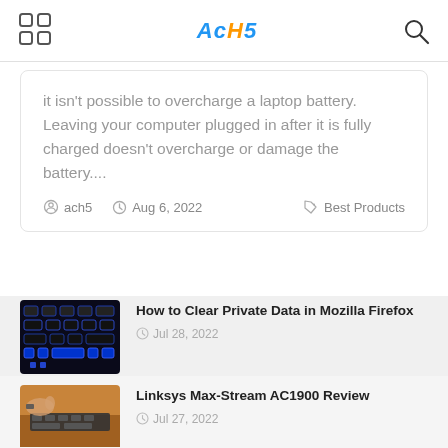AcH5
it isn't possible to overcharge a laptop battery. Leaving your computer plugged in after it is fully charged doesn't overcharge or damage the battery....
ach5  Aug 6, 2022  Best Products
How to Clear Private Data in Mozilla Firefox  Jul 28, 2022
Linksys Max-Stream AC1900 Review  Jul 27, 2022